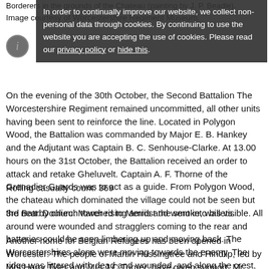Borderers in the grounds of the Chateau (painting by J. P. Beadle).
Image courtesy of Worcestershire Regiment Museum.
In order to continually improve our website, we collect non-personal data through cookies. By continuing to use the website you are accepting the use of cookies. Please read our privacy policy or hide this.
On the evening of the 30th October, the Second Battalion The Worcestershire Regiment remained uncommitted, all other units having been sent to reinforce the line. Located in Polygon Wood, the Battalion was commanded by Major E. B. Hankey and the Adjutant was Captain B. C. Senhouse-Clarke. At 13.00 hours on the 31st October, the Battalion received an order to attack and retake Gheluvelt. Captain A. F. Thorne of the Grenadier Guards was to act as a guide. From Polygon Wood, the chateau which dominated the village could not be seen but the nearby church tower rising amidst the smoke, was visible. All around were wounded and stragglers coming to the rear and batteries could be seen limbering up and moving back. The Worcestershires alone were moving towards the enemy. The ridge was littered with dead and wounded, and along the crest, German shells were falling fast. Hankey decided that the only way to cross this dangerous area was at the doubl
Rolling casualty count: 369
3rd Batt: Doulieu: Marched to Merris and went into billets.
Another home for Belgian Refugees has been opened in Worcester: The people of Martin Hussingtree and Hindlip, led by Mrs Harry Tyler and Mrs J C Turner, have given support. Mr Harry Tyler has very generously lent